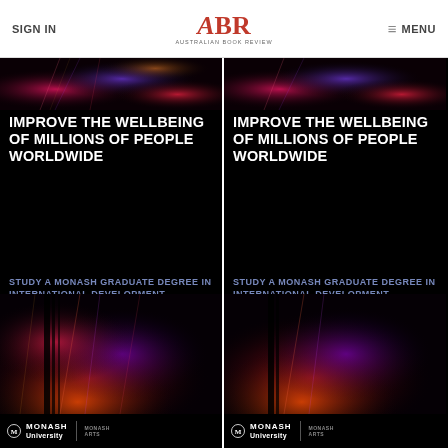SIGN IN | ABR Australian Book Review | MENU
[Figure (advertisement): Two side-by-side Monash University advertisement panels on black background. Each shows colorful fractal art at top and bottom, with bold white text 'IMPROVE THE WELLBEING OF MILLIONS OF PEOPLE WORLDWIDE' and blue-grey text 'STUDY A MONASH GRADUATE DEGREE IN INTERNATIONAL DEVELOPMENT PRACTICE'. Monash University and Monash Arts logos at bottom.]
IMPROVE THE WELLBEING OF MILLIONS OF PEOPLE WORLDWIDE
STUDY A MONASH GRADUATE DEGREE IN INTERNATIONAL DEVELOPMENT PRACTICE